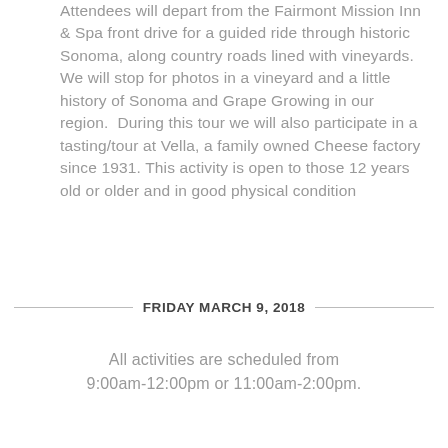Attendees will depart from the Fairmont Mission Inn & Spa front drive for a guided ride through historic Sonoma, along country roads lined with vineyards. We will stop for photos in a vineyard and a little history of Sonoma and Grape Growing in our region.  During this tour we will also participate in a tasting/tour at Vella, a family owned Cheese factory since 1931. This activity is open to those 12 years old or older and in good physical condition
FRIDAY MARCH 9, 2018
All activities are scheduled from 9:00am-12:00pm or 11:00am-2:00pm.